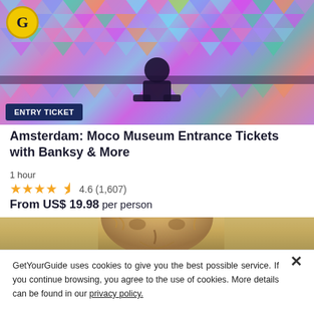[Figure (photo): Colorful iridescent geometric patterned background with a silhouetted person, and GetYourGuide logo badge in top left. Entry ticket badge overlaid at bottom left.]
ENTRY TICKET
Amsterdam: Moco Museum Entrance Tickets with Banksy & More
1 hour
4.6 (1,607)
From US$ 19.98 per person
[Figure (photo): Cropped close-up of Van Gogh self-portrait painting showing face and upper shoulders.]
GetYourGuide uses cookies to give you the best possible service. If you continue browsing, you agree to the use of cookies. More details can be found in our privacy policy.